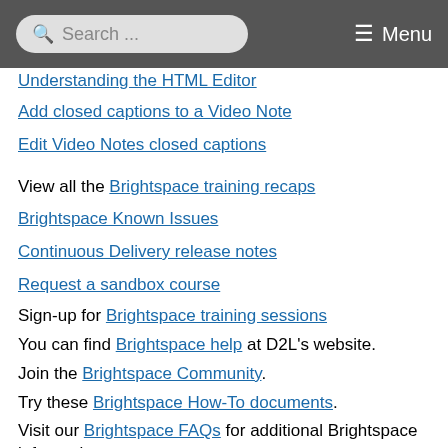Search ... Menu
Understanding the HTML Editor
Add closed captions to a Video Note
Edit Video Notes closed captions
View all the Brightspace training recaps
Brightspace Known Issues
Continuous Delivery release notes
Request a sandbox course
Sign-up for Brightspace training sessions
You can find Brightspace help at D2L's website.
Join the Brightspace Community.
Try these Brightspace How-To documents.
Visit our Brightspace FAQs for additional Brightspace information
or schedule a one-on-one session, email, or